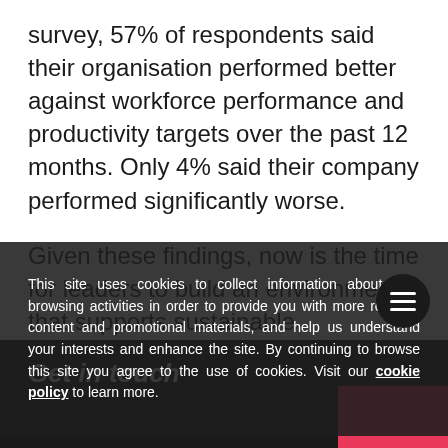survey, 57% of respondents said their organisation performed better against workforce performance and productivity targets over the past 12 months. Only 4% said their company performed significantly worse.
Given these findings, now is the time for leaders to build an environment that supports sustainable productivity — one that doesn't just engage employees. Being productive for a day or week is meaningless if that productivity comes at the expense of wellbeing. Giving employees flexibility to manage their work and home lives as they see fit
This site uses cookies to collect information about your browsing activities in order to provide you with more relevant content and promotional materials, and help us understand your interests and enhance the site. By continuing to browse this site you agree to the use of cookies. Visit our cookie policy to learn more.
Get in touch